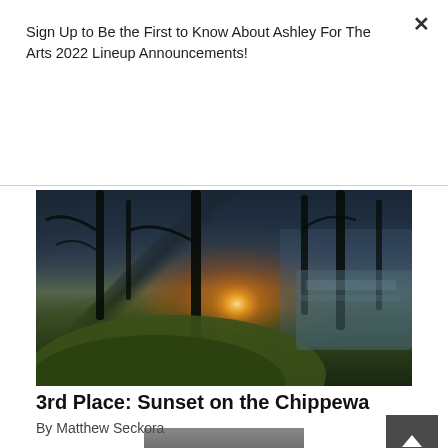Sign Up to Be the First to Know About Ashley For The Arts 2022 Lineup Announcements!
Subscribe
[Figure (photo): Sunset through trees over a mossy forest floor near a body of water. A golden sunburst shines through dark tree silhouettes with green moss-covered ground in the foreground and a lake or river visible on the right.]
3rd Place: Sunset on the Chippewa
By Matthew Seckora